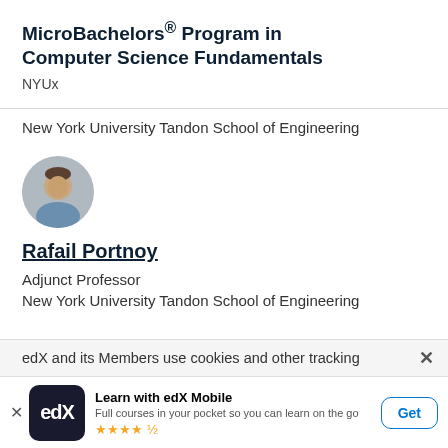MicroBachelors® Program in Computer Science Fundamentals
NYUx
New York University Tandon School of Engineering
[Figure (photo): Circular profile photo of Rafail Portnoy, an instructor]
Rafail Portnoy
Adjunct Professor
New York University Tandon School of Engineering
edX and its Members use cookies and other tracking
Learn with edX Mobile
Full courses in your pocket so you can learn on the go
★★★★½